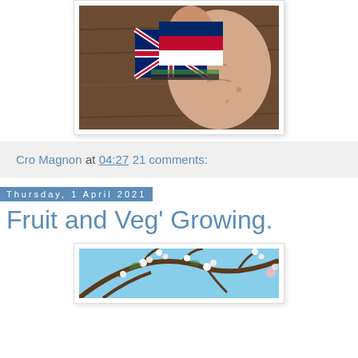[Figure (photo): A hand holding small flag cards including a Union Jack and another flag, with wooden background]
Cro Magnon at 04:27    21 comments:
Thursday, 1 April 2021
Fruit and Veg' Growing.
[Figure (photo): Tree branches with white blossoms and blue sky visible through the branches]